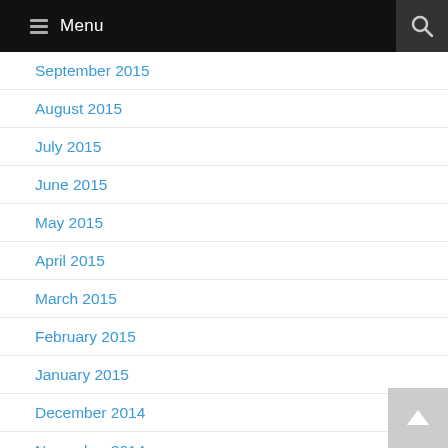Menu
September 2015
August 2015
July 2015
June 2015
May 2015
April 2015
March 2015
February 2015
January 2015
December 2014
November 2014
October 2014
September 2014
August 2014
July 2014